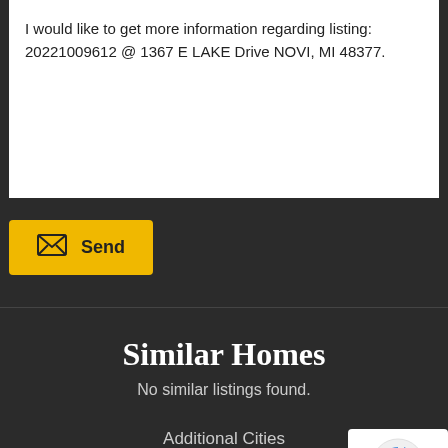I would like to get more information regarding listing: 20221009612 @ 1367 E LAKE Drive NOVI, MI 48377.
[Figure (other): Yellow Send button with envelope icon]
Similar Homes
No similar listings found.
Additional Cities
Detroit
Warren
[Figure (other): Google reCAPTCHA badge with Privacy and Terms links]